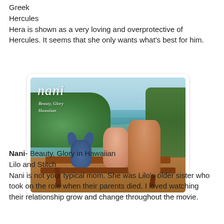Greek
Hercules
Hera is shown as a very loving and overprotective of Hercules. It seems that she only wants what's best for him.
[Figure (illustration): Disney image of Nani from Lilo and Stitch sitting on a picnic bench with Lilo and Stitch. Text overlay reads 'Nani - Beauty, Glory, Hawaiian'. Characters are in a tropical outdoor setting.]
Nani- Beauty, Glory in Hawaiian
Lilo and Stitch
Nani is not your typical mom. She was Lilo's older sister who took on the role when their parents died. I loved watching their relationship grow and change throughout the movie.